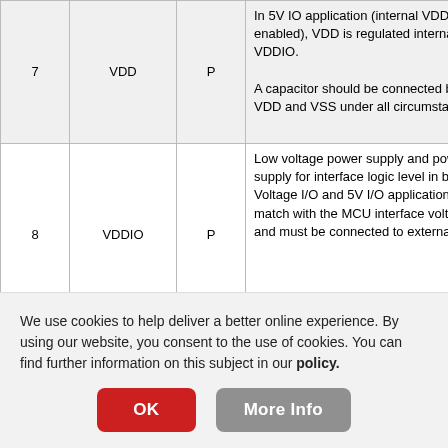| # | Name | Type | Description |
| --- | --- | --- | --- |
| 7 | VDD | P | In 5V IO application (internal VDD regulator enabled), VDD is regulated internally from VDDIO. A capacitor should be connected between VDD and VSS under all circumstances. |
| 8 | VDDIO | P | Low voltage power supply and power supply for interface logic level in both Low Voltage I/O and 5V I/O application. It should match with the MCU interface voltage level and must be connected to external source. |
|  |  |  | MCU bus interface selection pins. appropriate logic setting as described |
We use cookies to help deliver a better online experience. By using our website, you consent to the use of cookies. You can find further information on this subject in our policy.